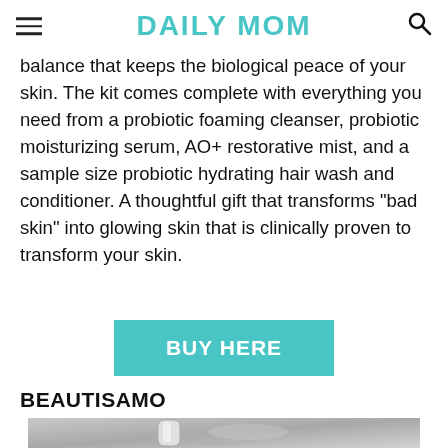DAILY MOM
balance that keeps the biological peace of your skin. The kit comes complete with everything you need from a probiotic foaming cleanser, probiotic moisturizing serum, AO+ restorative mist, and a sample size probiotic hydrating hair wash and conditioner. A thoughtful gift that transforms “bad skin” into glowing skin that is clinically proven to transform your skin.
BUY HERE
BEAUTISAMO
[Figure (photo): Product photo showing a silver cylindrical beauty/skincare device lying on crushed ice or crystals against a grey background.]